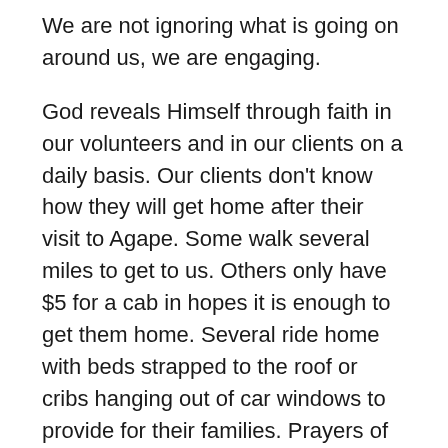We are not ignoring what is going on around us, we are engaging.
God reveals Himself through faith in our volunteers and in our clients on a daily basis. Our clients don't know how they will get home after their visit to Agape. Some walk several miles to get to us. Others only have $5 for a cab in hopes it is enough to get them home. Several ride home with beds strapped to the roof or cribs hanging out of car windows to provide for their families. Prayers of faith are answered for spiritual, mental and physical healing. Faith is the power that exists at Agape.
God has revealed to us the church is the answer to the pain, suffering and